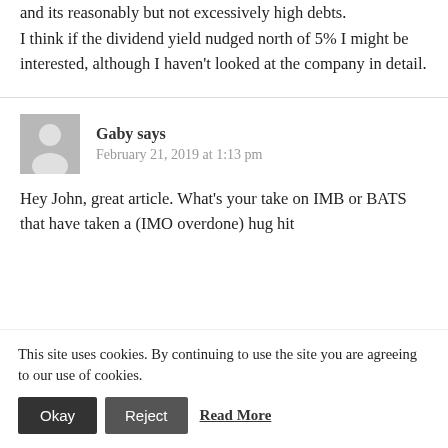and its reasonably but not excessively high debts.
I think if the dividend yield nudged north of 5% I might be interested, although I haven't looked at the company in detail.
Gaby says
February 21, 2019 at 1:13 pm
Hey John, great article. What's your take on IMB or BATS that have taken a (IMO overdone) hug hit
This site uses cookies. By continuing to use the site you are agreeing to our use of cookies.